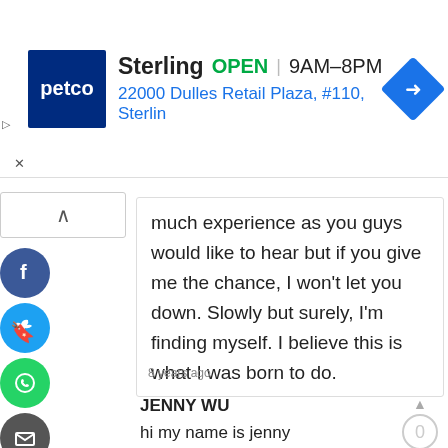[Figure (screenshot): Petco Sterling store ad banner: logo, OPEN status, 9AM-8PM hours, address 22000 Dulles Retail Plaza, #110, Sterlin, navigation icon]
much experience as you guys would like to hear but if you give me the chance, I won't let you down. Slowly but surely, I'm finding myself. I believe this is what I was born to do.
8 years ago
JENNY WU
hi my name is jenny
Nationality: australian